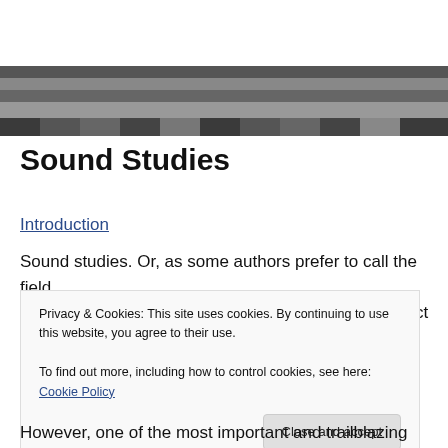[Figure (illustration): Header image with dark horizontal bar pattern in shades of gray]
Sound Studies
Introduction
Sound studies. Or, as some authors prefer to call the field, Soundscape Studies, or Auditory Culture. As an object of
Privacy & Cookies: This site uses cookies. By continuing to use this website, you agree to their use.
To find out more, including how to control cookies, see here: Cookie Policy
Close and accept
However, one of the most important and trailblazing books